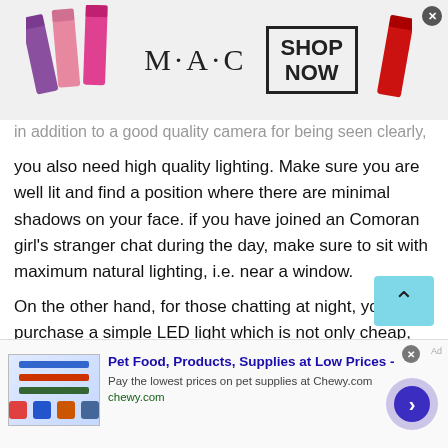[Figure (illustration): MAC cosmetics advertisement banner showing lipsticks on the left, MAC logo in the center, a 'SHOP NOW' box outlined in black, and a red lipstick on the right. A close X button is in the top-right corner.]
in addition to a good quality camera for being seen clearly, you also need high quality lighting. Make sure you are well lit and find a position where there are minimal shadows on your face. if you have joined an Comoran girl's stranger chat during the day, make sure to sit with maximum natural lighting, i.e. near a window.
On the other hand, for those chatting at night, you can purchase a simple LED light which is not only cheap, but it also does the job simply fine. There are several types of lights that come in all sorts of sizes and shapes.
[Figure (illustration): Pet Food advertisement banner from Chewy.com showing product images, title 'Pet Food, Products, Supplies at Low Prices -', description 'Pay the lowest prices on pet supplies at Chewy.com', URL 'chewy.com', and a circular arrow button on the right.]